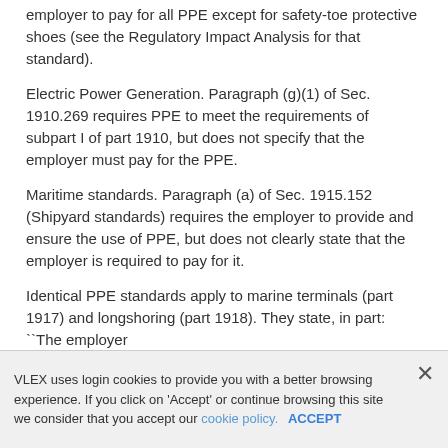employer to pay for all PPE except for safety-toe protective shoes (see the Regulatory Impact Analysis for that standard).
Electric Power Generation. Paragraph (g)(1) of Sec. 1910.269 requires PPE to meet the requirements of subpart I of part 1910, but does not specify that the employer must pay for the PPE.
Maritime standards. Paragraph (a) of Sec. 1915.152 (Shipyard standards) requires the employer to provide and ensure the use of PPE, but does not clearly state that the employer is required to pay for it.
Identical PPE standards apply to marine terminals (part 1917) and longshoring (part 1918). They state, in part: ``The employer
VLEX uses login cookies to provide you with a better browsing experience. If you click on 'Accept' or continue browsing this site we consider that you accept our cookie policy. ACCEPT